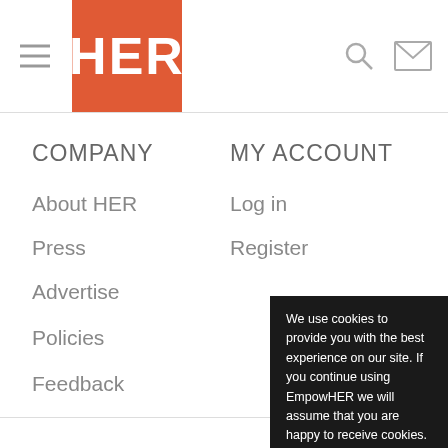HER (logo) — navigation header with hamburger menu, search icon, and mail icon
COMPANY
About HER
Press
Advertise
Policies
Feedback
MY ACCOUNT
Log in
Register
GET EMA…
We use cookies to provide you with the best experience on our site. If you continue using EmpowHER we will assume that you are happy to receive cookies. Learn more
Got it!